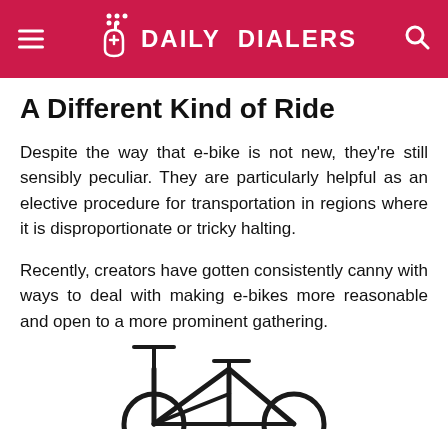DAILY DIALERS
A Different Kind of Ride
Despite the way that e-bike is not new, they're still sensibly peculiar. They are particularly helpful as an elective procedure for transportation in regions where it is disproportionate or tricky halting.
Recently, creators have gotten consistently canny with ways to deal with making e-bikes more reasonable and open to a more prominent gathering.
[Figure (photo): Partial view of a bicycle (e-bike) frame, handlebars and seat visible from below, cropped at bottom of page.]